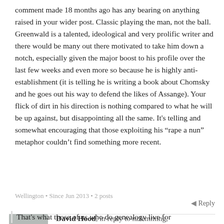comment made 18 months ago has any bearing on anything raised in your wider post. Classic playing the man, not the ball. Greenwald is a talented, ideological and very prolific writer and there would be many out there motivated to take him down a notch, especially given the major boost to his profile over the last few weeks and even more so because he is highly anti-establishment (it is telling he is writing a book about Chomsky and he goes out his way to defend the likes of Assange). Your flick of dirt in his direction is nothing compared to what he will be up against, but disappointing all the same. It's telling and somewhat encouraging that those exploiting his “rape a nun” metaphor couldn’t find something more recent.
Wellington • Since Jun 2013 • 2 posts
Reply
David Hood, in reply to nzlemming, 9 years ago ∞
That's what those of us who do genealogy live for